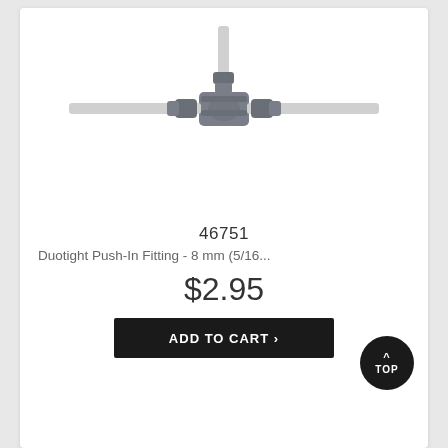[Figure (photo): T-shaped push-in fitting (Duotight) in gray plastic. A vertical tube extends upward from the top port, and two horizontal tubes extend left and right from the main body. The fitting has gray colored collet rings at each connection point.]
46751
Duotight Push-In Fitting - 8 mm (5/16...
$2.95
ADD TO CART